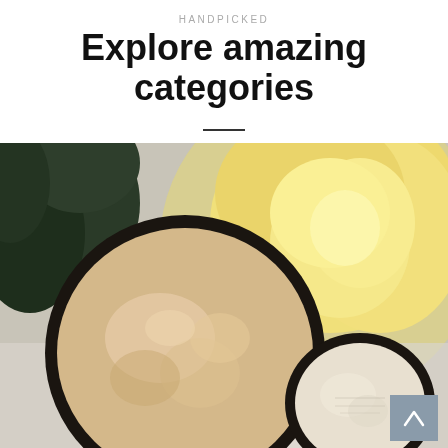HANDPICKED
Explore amazing categories
[Figure (photo): Overhead view of two open cosmetic cream jars with a yellow rose and green leaves on a light background, with a scroll-to-top button in the lower right corner.]